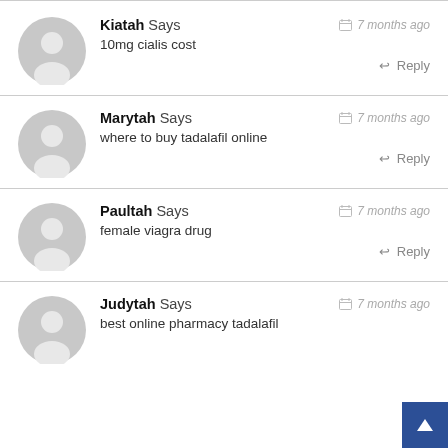Kiatah Says — 7 months ago — 10mg cialis cost — Reply
Marytah Says — 7 months ago — where to buy tadalafil online — Reply
Paultah Says — 7 months ago — female viagra drug — Reply
Judytah Says — 7 months ago — best online pharmacy tadalafil